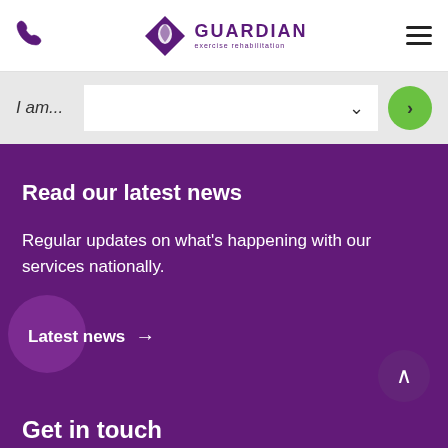Guardian Exercise Rehabilitation — navigation header with phone icon, logo, and hamburger menu
I am...
Read our latest news
Regular updates on what's happening with our services nationally.
Latest news →
Get in touch